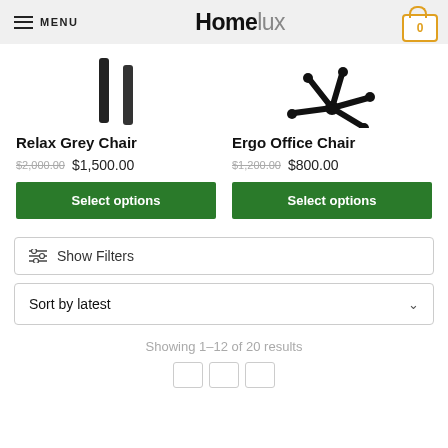MENU | Homelux | Cart: 0
[Figure (illustration): Relax Grey Chair product image — two vertical dark grey armrest/leg bars visible from top]
Relax Grey Chair
$2,000.00 $1,500.00
Select options
[Figure (illustration): Ergo Office Chair product image — black five-star chair base with casters visible from above]
Ergo Office Chair
$1,200.00 $800.00
Select options
Show Filters
Sort by latest
Showing 1–12 of 20 results